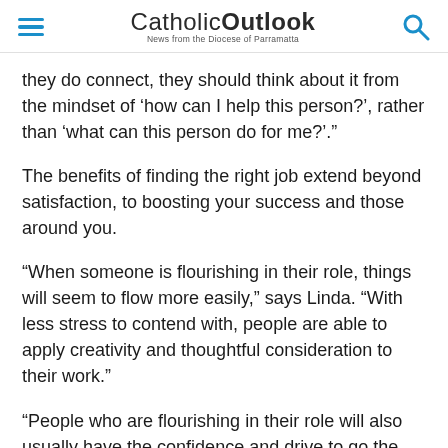CatholicOutlook – News from the Diocese of Parramatta
they do connect, they should think about it from the mindset of ‘how can I help this person?’, rather than ‘what can this person do for me?.’”
The benefits of finding the right job extend beyond satisfaction, to boosting your success and those around you.
“When someone is flourishing in their role, things will seem to flow more easily,” says Linda. “With less stress to contend with, people are able to apply creativity and thoughtful consideration to their work.”
“People who are flourishing in their role will also usually have the confidence and drive to go the